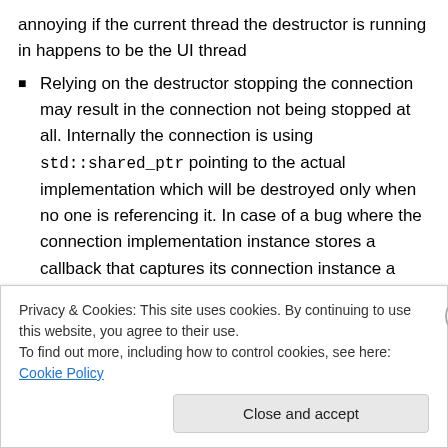annoying if the current thread the destructor is running in happens to be the UI thread
Relying on the destructor stopping the connection may result in the connection not being stopped at all. Internally the connection is using std::shared_ptr pointing to the actual implementation which will be destroyed only when no one is referencing it. In case of a bug where the connection implementation instance stores a callback that captures its connection instance a cycle is created and the reference count will never reach 0. In this situation the destructor will never be
Privacy & Cookies: This site uses cookies. By continuing to use this website, you agree to their use.
To find out more, including how to control cookies, see here: Cookie Policy
Close and accept